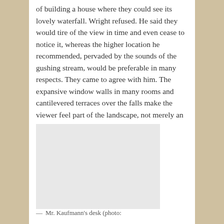of building a house where they could see its lovely waterfall. Wright refused. He said they would tire of the view in time and even cease to notice it, whereas the higher location he recommended, pervaded by the sounds of the gushing stream, would be preferable in many respects. They came to agree with him. The expansive window walls in many rooms and cantilevered terraces over the falls make the viewer feel part of the landscape, not merely an observer.
[Figure (photo): A grey placeholder rectangle representing a photograph, likely of Mr. Kaufmann's desk at Fallingwater.]
— Mr. Kaufmann's desk (photo: